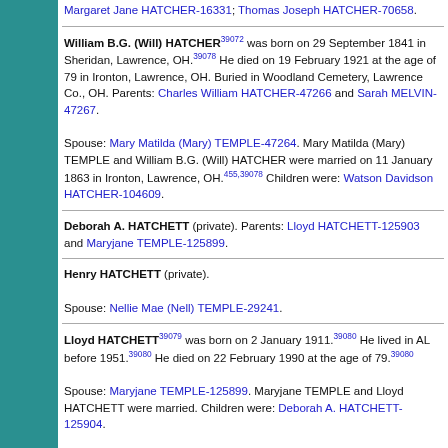Margaret Jane HATCHER-16331; Thomas Joseph HATCHER-70658.
William B.G. (Will) HATCHER[39072] was born on 29 September 1841 in Sheridan, Lawrence, OH.[39078] He died on 19 February 1921 at the age of 79 in Ironton, Lawrence, OH. Buried in Woodland Cemetery, Lawrence Co., OH. Parents: Charles William HATCHER-47266 and Sarah MELVIN-47267. Spouse: Mary Matilda (Mary) TEMPLE-47264. Mary Matilda (Mary) TEMPLE and William B.G. (Will) HATCHER were married on 11 January 1863 in Ironton, Lawrence, OH.[455,39078] Children were: Watson Davidson HATCHER-104609.
Deborah A. HATCHETT (private). Parents: Lloyd HATCHETT-125903 and Maryjane TEMPLE-125899.
Henry HATCHETT (private). Spouse: Nellie Mae (Nell) TEMPLE-29241.
Lloyd HATCHETT[39079] was born on 2 January 1911.[39080] He lived in AL before 1951.[39080] He died on 22 February 1990 at the age of 79.[39080] Spouse: Maryjane TEMPLE-125899. Maryjane TEMPLE and Lloyd HATCHETT were married. Children were: Deborah A. HATCHETT-125904.